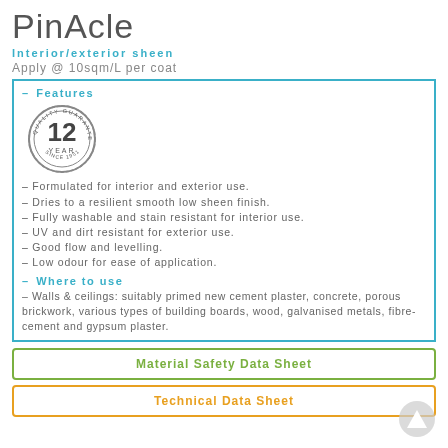PinAcle
Interior/exterior sheen
Apply @ 10sqm/L per coat
– Features
[Figure (illustration): 12 Year Quality Guarantee badge/seal]
Formulated for interior and exterior use.
Dries to a resilient smooth low sheen finish.
Fully washable and stain resistant for interior use.
UV and dirt resistant for exterior use.
Good flow and levelling.
Low odour for ease of application.
– Where to use
– Walls & ceilings: suitably primed new cement plaster, concrete, porous brickwork, various types of building boards, wood, galvanised metals, fibre-cement and gypsum plaster.
Material Safety Data Sheet
Technical Data Sheet